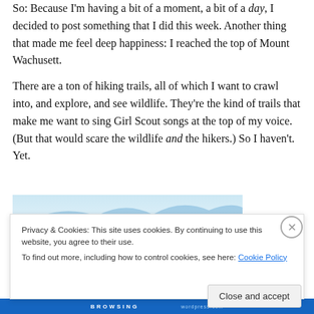So: Because I'm having a bit of a moment, a bit of a day, I decided to post something that I did this week. Another thing that made me feel deep happiness: I reached the top of Mount Wachusett.
There are a ton of hiking trails, all of which I want to crawl into, and explore, and see wildlife. They're the kind of trails that make me want to sing Girl Scout songs at the top of my voice. (But that would scare the wildlife and the hikers.) So I haven't. Yet.
[Figure (photo): Partial view of a mountain landscape with green trees and blue sky]
Privacy & Cookies: This site uses cookies. By continuing to use this website, you agree to their use.
To find out more, including how to control cookies, see here: Cookie Policy
Close and accept